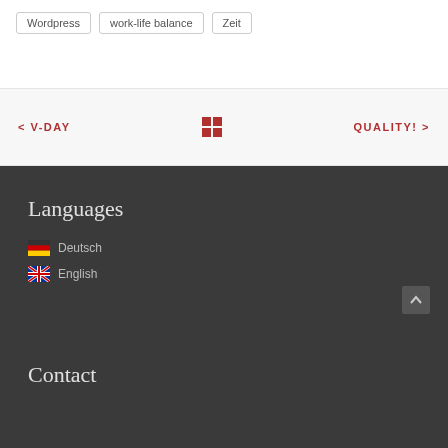Wordpress
work-life balance
Zeit
< V-DAY
[Figure (other): Grid icon - four red squares in 2x2 layout]
QUALITY! >
Languages
Deutsch
English
Contact